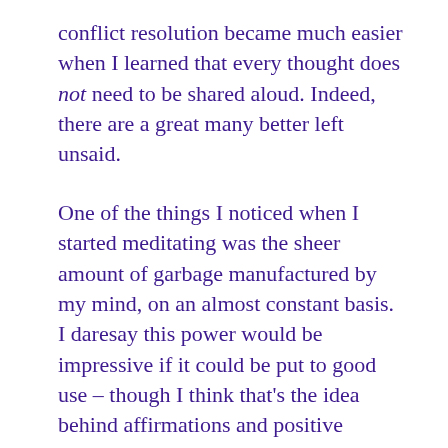conflict resolution became much easier when I learned that every thought does not need to be shared aloud. Indeed, there are a great many better left unsaid.
One of the things I noticed when I started meditating was the sheer amount of garbage manufactured by my mind, on an almost constant basis. I daresay this power would be impressive if it could be put to good use – though I think that's the idea behind affirmations and positive thinking. But sometimes the mind has to be left to just wear itself out spinning crazy, awful stories.
And they are just that: stories. Fortunately, a